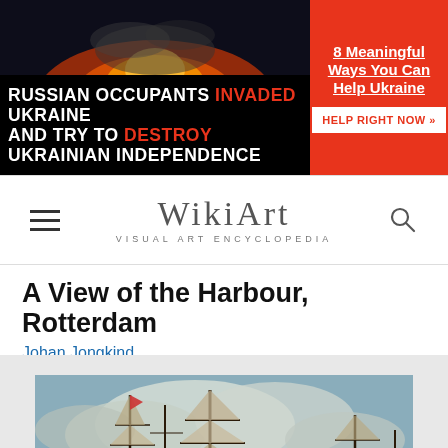[Figure (photo): Banner showing a nighttime photograph of an explosion or fire, likely from the Ukraine conflict. Dark cityscape with bright orange-red fire and smoke in the background.]
RUSSIAN OCCUPANTS INVADED UKRAINE AND TRY TO DESTROY UKRAINIAN INDEPENDENCE
8 Meaningful Ways You Can Help Ukraine
HELP RIGHT NOW »
[Figure (logo): WikiArt - Visual Art Encyclopedia logo with hamburger menu icon on left and search icon on right]
A View of the Harbour, Rotterdam
Johan Jongkind
[Figure (photo): A painting by Johan Jongkind depicting sailing ships in a harbour at Rotterdam. Masted sailing vessels visible against a cloudy sky. Painted in muted blues, greys and browns.]